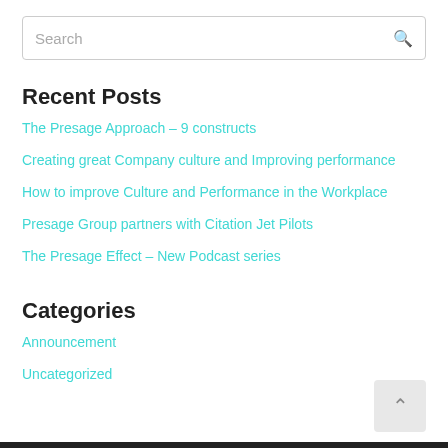Search
Recent Posts
The Presage Approach – 9 constructs
Creating great Company culture and Improving performance
How to improve Culture and Performance in the Workplace
Presage Group partners with Citation Jet Pilots
The Presage Effect – New Podcast series
Categories
Announcement
Uncategorized